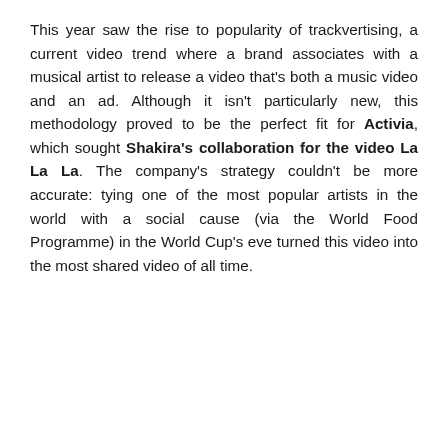This year saw the rise to popularity of trackvertising, a current video trend where a brand associates with a musical artist to release a video that's both a music video and an ad. Although it isn't particularly new, this methodology proved to be the perfect fit for Activia, which sought Shakira's collaboration for the video La La La. The company's strategy couldn't be more accurate: tying one of the most popular artists in the world with a social cause (via the World Food Programme) in the World Cup's eve turned this video into the most shared video of all time.